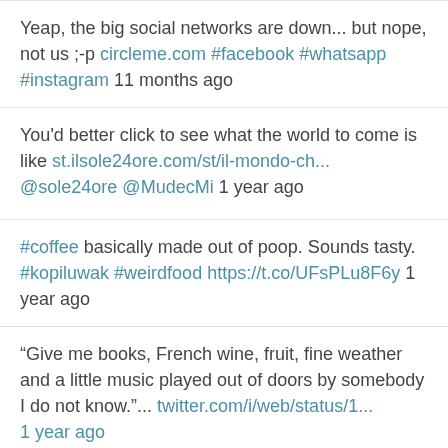Yeap, the big social networks are down... but nope, not us ;-p circleme.com #facebook #whatsapp #instagram 11 months ago
You'd better click to see what the world to come is like st.ilsole24ore.com/st/il-mondo-ch... @sole24ore @MudecMi 1 year ago
#coffee basically made out of poop. Sounds tasty. #kopiluwak #weirdfood https://t.co/UFsPLu8F6y 1 year ago
“Give me books, French wine, fruit, fine weather and a little music played out of doors by somebody I do not know.”... twitter.com/i/web/status/1... 1 year ago